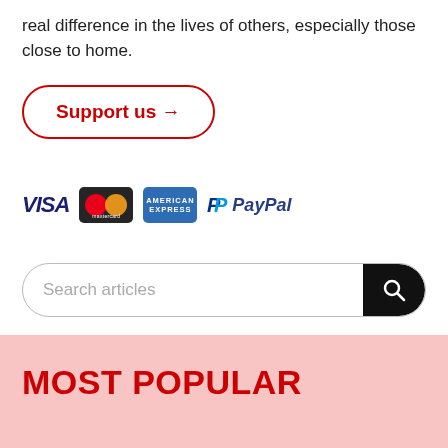real difference in the lives of others, especially those close to home.
Support us →
[Figure (other): Payment method icons: VISA, Mastercard, American Express, PayPal]
Search articles
MOST POPULAR